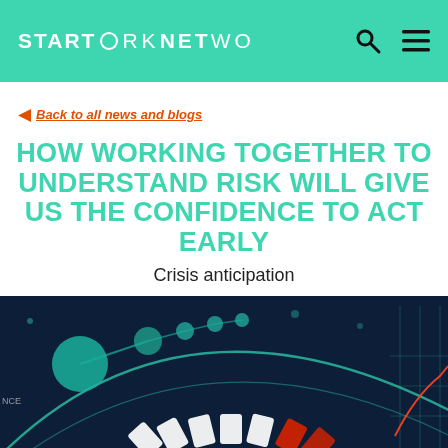START NETWORK
Back to all news and blogs
HOW WORKING TOGETHER TO UNDERSTAND RISK WILL GIVE US THE CONFIDENCE TO ACT EARLY
Crisis anticipation
[Figure (illustration): Dark navy background with teal/mint curved lines, teal circles of various sizes connected by lines suggesting a network or data visualization, white playing card fan shapes arranged in a arc at the bottom, with a red card at the end, and partial chart grid lines visible at right edge]